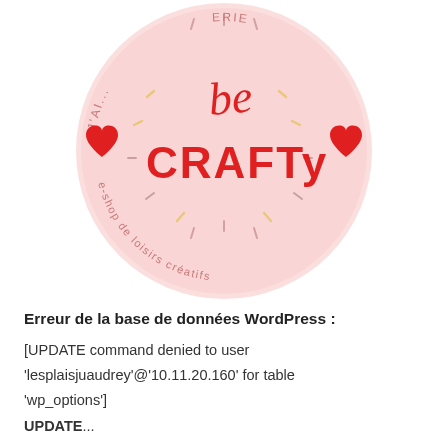[Figure (logo): Circular pink logo with red script text 'be CRAFTY', red heart icons on left and right, small dashes and marks decorating the circle, curved text 'J'AI... ...ERIE' at top and 'e-shop de loisirs créatifs' at bottom, on a light pink background circle.]
Erreur de la base de données WordPress : [UPDATE command denied to user 'lesplaisjuaudrey'@'10.11.20.160' for table 'wp_options'] UPDATE...